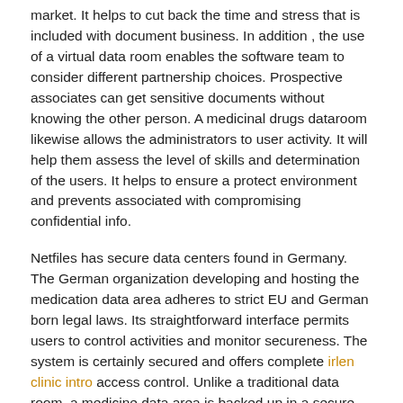market. It helps to cut back the time and stress that is included with document business. In addition , the use of a virtual data room enables the software team to consider different partnership choices. Prospective associates can get sensitive documents without knowing the other person. A medicinal drugs dataroom likewise allows the administrators to user activity. It will help them assess the level of skills and determination of the users. It helps to ensure a protect environment and prevents associated with compromising confidential info.
Netfiles has secure data centers found in Germany. The German organization developing and hosting the medication data area adheres to strict EU and German born legal laws. Its straightforward interface permits users to control activities and monitor secureness. The system is certainly secured and offers complete irlen clinic intro access control. Unlike a traditional data room, a medicine data area is backed up in a secure environment and is accessed by authorized workers only. Moreover, the application is fully encrypted, which can be essential inside the